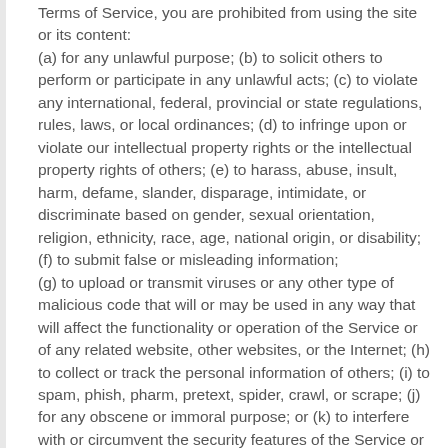Terms of Service, you are prohibited from using the site or its content: (a) for any unlawful purpose; (b) to solicit others to perform or participate in any unlawful acts; (c) to violate any international, federal, provincial or state regulations, rules, laws, or local ordinances; (d) to infringe upon or violate our intellectual property rights or the intellectual property rights of others; (e) to harass, abuse, insult, harm, defame, slander, disparage, intimidate, or discriminate based on gender, sexual orientation, religion, ethnicity, race, age, national origin, or disability; (f) to submit false or misleading information; (g) to upload or transmit viruses or any other type of malicious code that will or may be used in any way that will affect the functionality or operation of the Service or of any related website, other websites, or the Internet; (h) to collect or track the personal information of others; (i) to spam, phish, pharm, pretext, spider, crawl, or scrape; (j) for any obscene or immoral purpose; or (k) to interfere with or circumvent the security features of the Service or